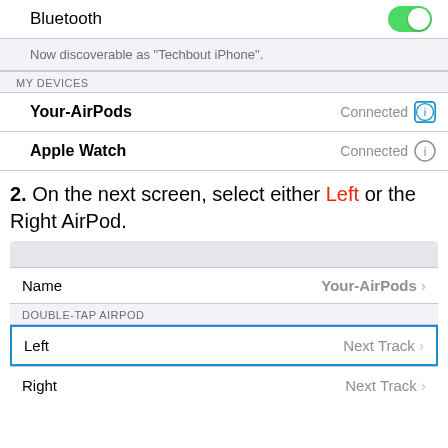[Figure (screenshot): iOS Bluetooth settings screen showing Bluetooth toggle (on/green), 'Now discoverable as Techbout iPhone', MY DEVICES section with Your-AirPods (Connected, info icon highlighted in blue) and Apple Watch (Connected)]
2. On the next screen, select either Left or the Right AirPod.
[Figure (screenshot): iOS AirPods settings panel showing Name: Your-AirPods, DOUBLE-TAP AIRPOD section with Left (Next Track, highlighted in blue border) and Right (Next Track)]